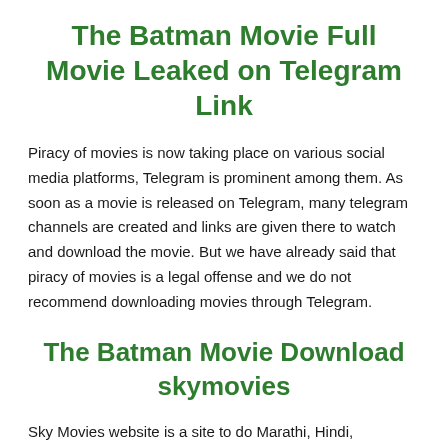The Batman Movie Full Movie Leaked on Telegram Link
Piracy of movies is now taking place on various social media platforms, Telegram is prominent among them. As soon as a movie is released on Telegram, many telegram channels are created and links are given there to watch and download the movie. But we have already said that piracy of movies is a legal offense and we do not recommend downloading movies through Telegram.
The Batman Movie Download skymovies
Sky Movies website is a site to do Marathi, Hindi, Hollywood